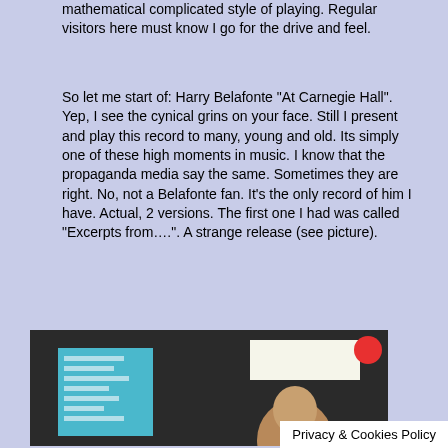mathematical complicated style of playing. Regular visitors here must know I go for the drive and feel.
So let me start of: Harry Belafonte "At Carnegie Hall". Yep, I see the cynical grins on your face. Still I present and play this record to many, young and old. Its simply one of these high moments in music. I know that the propaganda media say the same. Sometimes they are right. No, not a Belafonte fan. It's the only record of him I have. Actual, 2 versions. The first one I had was called "Excerpts from….". A strange release (see picture).
[Figure (photo): Photo of a Harry Belafonte vinyl record album with dark cover, blue label sticker on left, price sticker top right, and gold 'HARRY' text at the bottom on a tan/golden background strip.]
Privacy & Cookies Policy